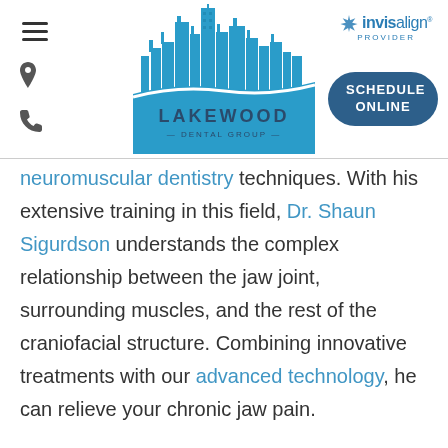[Figure (logo): Lakewood Dental Group logo with city skyline and Invisalign Provider badge, plus Schedule Online button and navigation icons]
neuromuscular dentistry techniques. With his extensive training in this field, Dr. Shaun Sigurdson understands the complex relationship between the jaw joint, surrounding muscles, and the rest of the craniofacial structure. Combining innovative treatments with our advanced technology, he can relieve your chronic jaw pain.

To learn more about our TMJ treatments, contact